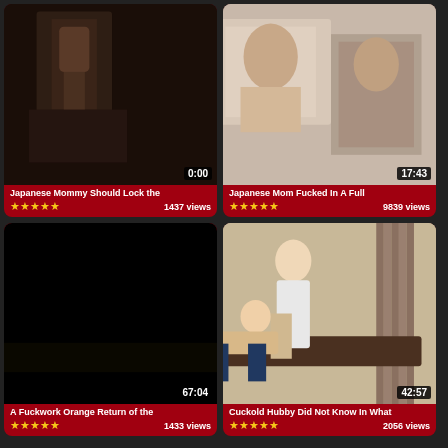[Figure (screenshot): Video thumbnail card 1: dark indoor scene with figure, duration 0:00, title 'Japanese Mommy Should Lock the', 5 stars, 1437 views]
[Figure (screenshot): Video thumbnail card 2: indoor scene, duration 17:43, title 'Japanese Mom Fucked In A Full', 5 stars, 9839 views]
[Figure (screenshot): Video thumbnail card 3: black screen, duration 67:04, title 'A Fuckwork Orange Return of the', 5 stars, 1433 views]
[Figure (screenshot): Video thumbnail card 4: indoor massage scene, duration 42:57, title 'Cuckold Hubby Did Not Know In What', 5 stars, 2056 views]